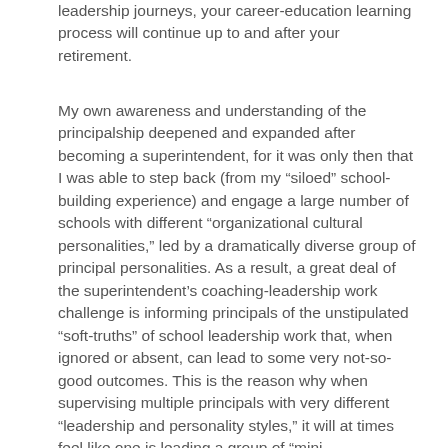leadership journeys, your career-education learning process will continue up to and after your retirement.
My own awareness and understanding of the principalship deepened and expanded after becoming a superintendent, for it was only then that I was able to step back (from my “siloed” school-building experience) and engage a large number of schools with different “organizational cultural personalities,” led by a dramatically diverse group of principal personalities. As a result, a great deal of the superintendent’s coaching-leadership work challenge is informing principals of the unstipulated “soft-truths” of school leadership work that, when ignored or absent, can lead to some very not-so-good outcomes. This is the reason why when supervising multiple principals with very different “leadership and personality styles,” it will at times feel like one is leading a group of “mini-superintendents” with their own set of “district regulations” (It’s the payback you earned for all of the ‘grey hairs’ you either added or removed from your superintendent’s head when you were a principal!)